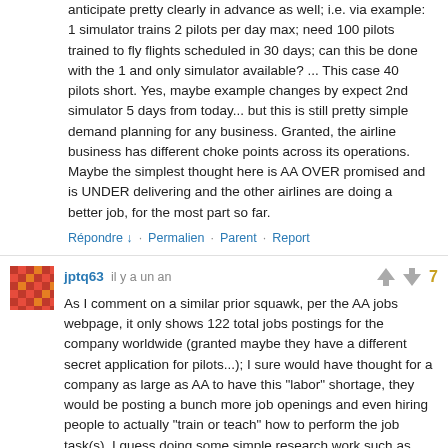anticipate pretty clearly in advance as well; i.e. via example: 1 simulator trains 2 pilots per day max; need 100 pilots trained to fly flights scheduled in 30 days; can this be done with the 1 and only simulator available? ... This case 40 pilots short. Yes, maybe example changes by expect 2nd simulator 5 days from today... but this is still pretty simple demand planning for any business. Granted, the airline business has different choke points across its operations. Maybe the simplest thought here is AA OVER promised and is UNDER delivering and the other airlines are doing a better job, for the most part so far.
Répondre ↓ · Permalien · Parent · Report
[Figure (other): User avatar icon for jptq63 — a small red/orange mosaic square pattern]
jptq63  il y a un an
7 (vote count)
As I comment on a similar prior squawk, per the AA jobs webpage, it only shows 122 total jobs postings for the company worldwide (granted maybe they have a different secret application for pilots...); I sure would have thought for a company as large as AA to have this "labor" shortage, they would be posting a bunch more job openings and even hiring people to actually "train or teach" how to perform the job task(s). I guess doing some simple research work such as reviewing how many job postings (note, no idea how many people actually are applying to the listed open positions...) a company lists and asking a company if what percentage of the 122 jobs are causing the problems would make it into the article or I could just be offending someone with doing work, research, logic, etc.; never know now....
Répondre ↓ · Permalien · Report